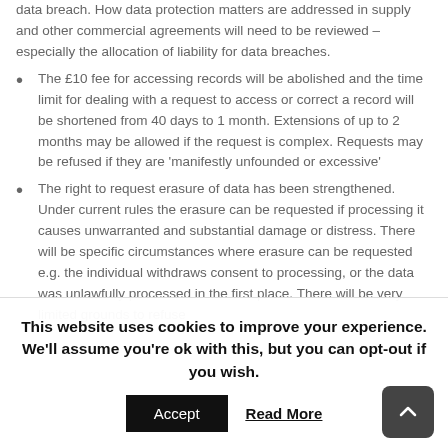data breach. How data protection matters are addressed in supply and other commercial agreements will need to be reviewed – especially the allocation of liability for data breaches.
The £10 fee for accessing records will be abolished and the time limit for dealing with a request to access or correct a record will be shortened from 40 days to 1 month. Extensions of up to 2 months may be allowed if the request is complex. Requests may be refused if they are 'manifestly unfounded or excessive'
The right to request erasure of data has been strengthened. Under current rules the erasure can be requested if processing it causes unwarranted and substantial damage or distress. There will be specific circumstances where erasure can be requested e.g. the individual withdraws consent to processing, or the data was unlawfully processed in the first place. There will be very limited grounds to refuse
This website uses cookies to improve your experience. We'll assume you're ok with this, but you can opt-out if you wish.
Accept | Read More